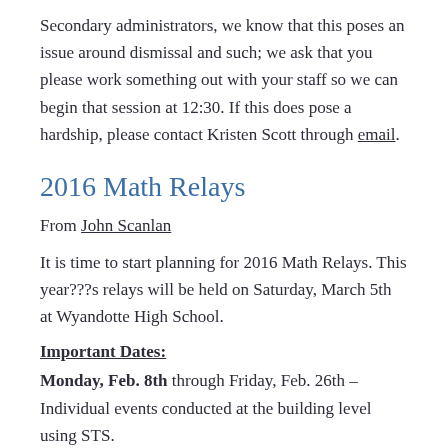Secondary administrators, we know that this poses an issue around dismissal and such; we ask that you please work something out with your staff so we can begin that session at 12:30. If this does pose a hardship, please contact Kristen Scott through email.
2016 Math Relays
From John Scanlan
It is time to start planning for 2016 Math Relays. This year???s relays will be held on Saturday, March 5th at Wyandotte High School.
Important Dates:
Monday, Feb. 8th through Friday, Feb. 26th – Individual events conducted at the building level using STS.
By February 10th – Individuals interested in serving as a